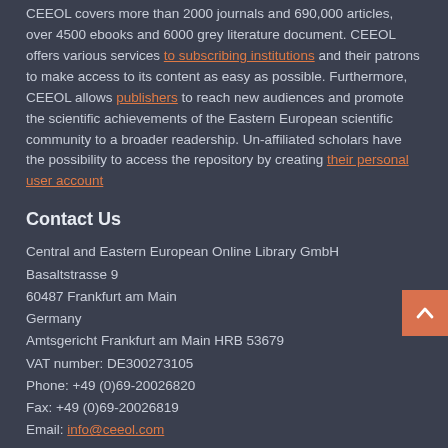CEEOL covers more than 2000 journals and 690,000 articles, over 4500 ebooks and 6000 grey literature document. CEEOL offers various services to subscribing institutions and their patrons to make access to its content as easy as possible. Furthermore, CEEOL allows publishers to reach new audiences and promote the scientific achievements of the Eastern European scientific community to a broader readership. Un-affiliated scholars have the possibility to access the repository by creating their personal user account
Contact Us
Central and Eastern European Online Library GmbH
Basaltstrasse 9
60487 Frankfurt am Main
Germany
Amtsgericht Frankfurt am Main HRB 53679
VAT number: DE300273105
Phone: +49 (0)69-20026820
Fax: +49 (0)69-20026819
Email: info@ceeol.com
Connect with CEEOL
Join our Facebook page